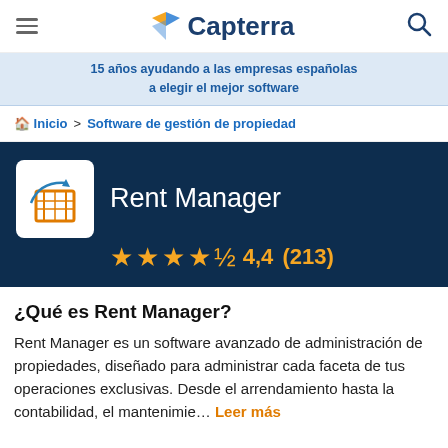Capterra
15 años ayudando a las empresas españolas a elegir el mejor software
Inicio > Software de gestión de propiedad
Rent Manager
4,4 (213)
¿Qué es Rent Manager?
Rent Manager es un software avanzado de administración de propiedades, diseñado para administrar cada faceta de tus operaciones exclusivas. Desde el arrendamiento hasta la contabilidad, el mantenimie… Leer más